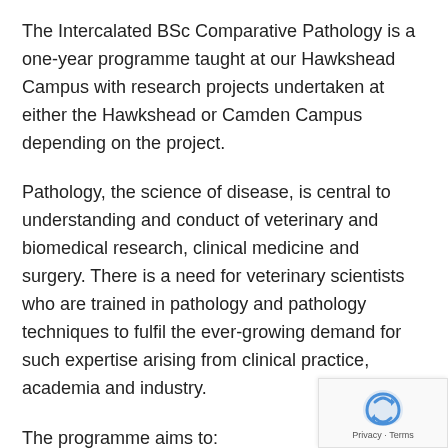The Intercalated BSc Comparative Pathology is a one-year programme taught at our Hawkshead Campus with research projects undertaken at either the Hawkshead or Camden Campus depending on the project.
Pathology, the science of disease, is central to understanding and conduct of veterinary and biomedical research, clinical medicine and surgery. There is a need for veterinary scientists who are trained in pathology and pathology techniques to fulfil the ever-growing demand for such expertise arising from clinical practice, academia and industry.
The programme aims to: